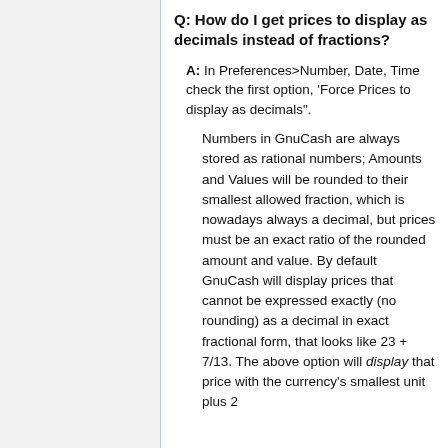Q: How do I get prices to display as decimals instead of fractions?
A: In Preferences>Number, Date, Time check the first option, 'Force Prices to display as decimals".
Numbers in GnuCash are always stored as rational numbers; Amounts and Values will be rounded to their smallest allowed fraction, which is nowadays always a decimal, but prices must be an exact ratio of the rounded amount and value. By default GnuCash will display prices that cannot be expressed exactly (no rounding) as a decimal in exact fractional form, that looks like 23 + 7/13. The above option will display that price with the currency's smallest unit plus 2